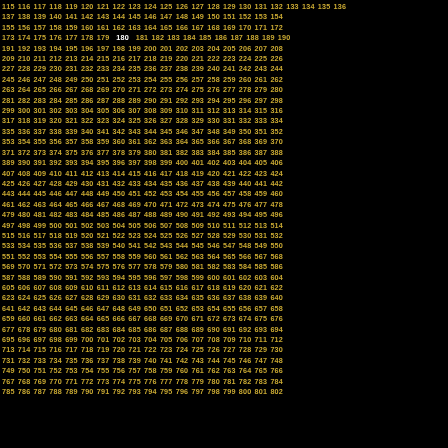Sequential numbers from 115 to 802, arranged in a grid with number 180 highlighted in white. Numbers displayed in gold/amber color on black background.